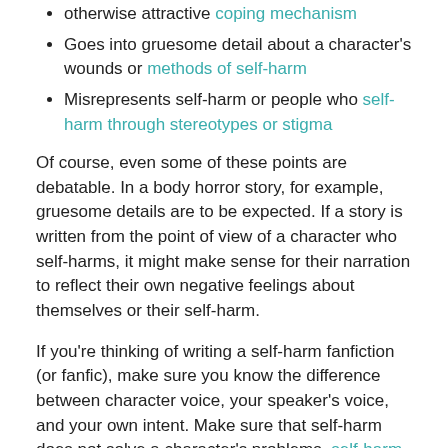Goes into gruesome detail about a character's wounds or methods of self-harm
Misrepresents self-harm or people who self-harm through stereotypes or stigma
Of course, even some of these points are debatable. In a body horror story, for example, gruesome details are to be expected. If a story is written from the point of view of a character who self-harms, it might make sense for their narration to reflect their own negative feelings about themselves or their self-harm.
If you're thinking of writing a self-harm fanfiction (or fanfic), make sure you know the difference between character voice, your speaker's voice, and your own intent. Make sure that self-harm does not solve a character's problems—self-harm itself is a problem, and usually creates more issues than it resolves.